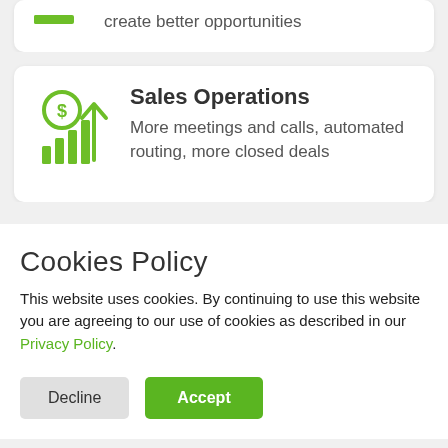create better opportunities
[Figure (illustration): Green icon with dollar sign circle and bar chart with upward arrow representing Sales Operations]
Sales Operations
More meetings and calls, automated routing, more closed deals
Cookies Policy
This website uses cookies. By continuing to use this website you are agreeing to our use of cookies as described in our Privacy Policy.
Decline
Accept